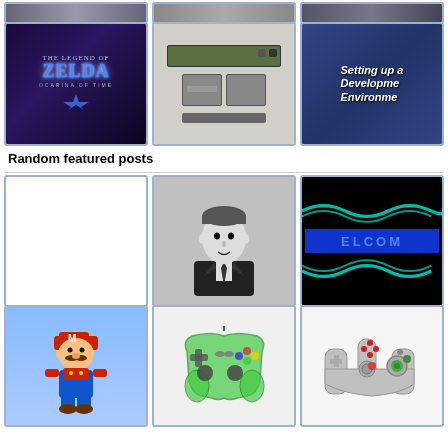[Figure (photo): Top strip row of 3 small thumbnail images (cropped content partially visible)]
[Figure (photo): The Legend of Zelda: Ocarina of Time title screen with blue glowing logo]
[Figure (photo): Nintendo 64 development hardware components laid out on white background]
[Figure (photo): Text thumbnail reading 'Setting up a Development Environment' on blue textured background]
Random featured posts
[Figure (photo): Blank white thumbnail image]
[Figure (photo): Black and white portrait photo of a man in suit (Rick Astley style)]
[Figure (photo): Dark screen showing 'ELCOM' or 'WELCOME' text in blue with teal snake/pattern graphics]
[Figure (photo): Mario character on blue background holding something]
[Figure (photo): Transparent green game controller (Brawler64 style)]
[Figure (photo): Nintendo 64 controller in gray on white background]